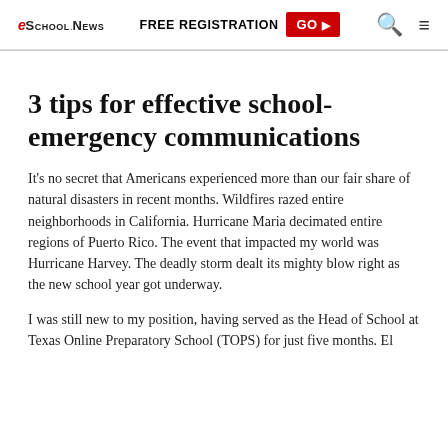eSchool News | FREE REGISTRATION GO ▶
3 tips for effective school-emergency communications
It's no secret that Americans experienced more than our fair share of natural disasters in recent months. Wildfires razed entire neighborhoods in California. Hurricane Maria decimated entire regions of Puerto Rico. The event that impacted my world was Hurricane Harvey. The deadly storm dealt its mighty blow right as the new school year got underway.
I was still new to my position, having served as the Head of School at Texas Online Preparatory School (TOPS) for just five months. The devastation was beyond...